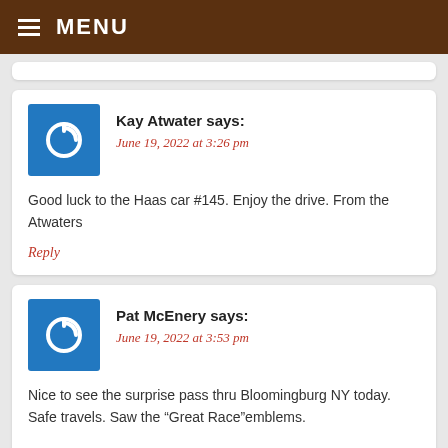MENU
Kay Atwater says:
June 19, 2022 at 3:26 pm

Good luck to the Haas car #145. Enjoy the drive. From the Atwaters

Reply
Pat McEnery says:
June 19, 2022 at 3:53 pm

Nice to see the surprise pass thru Bloomingburg NY today. Safe travels. Saw the “Great Race”Emblems.